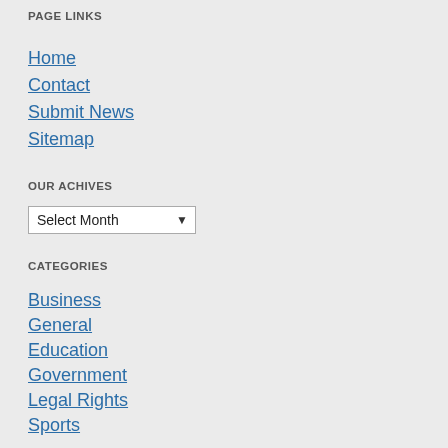PAGE LINKS
Home
Contact
Submit News
Sitemap
OUR ACHIVES
Select Month
CATEGORIES
Business
General
Education
Government
Legal Rights
Sports